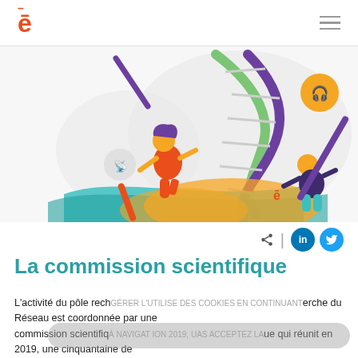ē (logo) | hamburger menu
[Figure (illustration): Colorful illustration showing two cartoon scientists interacting with a large DNA double helix strand. Purple and green DNA strands, orange figures, teal flowing ribbon, orange blob shape, circular icons with wifi/headset symbols. Logo 'ē' visible in orange on the illustration.]
La commission scientifique
L'activité du pôle recherche du Réseau est coordonnée par une commission scientifique qui réunit en 2019, une cinquantaine de chercheurs et enseignants-chercheurs actifs représentant une douzaine de domaines disciplinaires différents : Sciences de l'éducation, Sociologie, Psychologie, Histoire, Santé publique, Sciences de l'information et de la communication, Neurosciences,